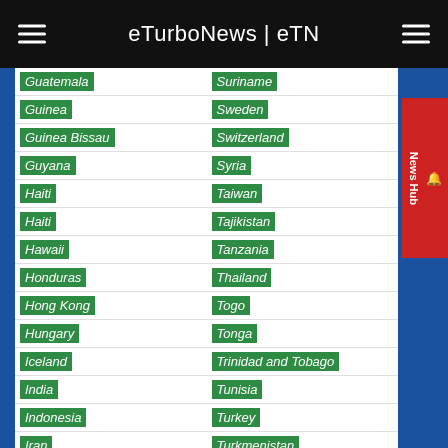eTurboNews | eTN
Guatemala
Suriname
Guinea
Sweden
Guinea Bissau
Switzerland
Guyana
Syria
Haiti
Taiwan
Haiti
Tajikistan
Hawaii
Tanzania
Honduras
Thailand
Hong Kong
Togo
Hungary
Tonga
Iceland
Trinidad and Tobago
India
Tunisia
Indonesia
Turkey
Iran
Turkmenistan
Iraq
Turks and Caicos
Ireland
Tuvalu